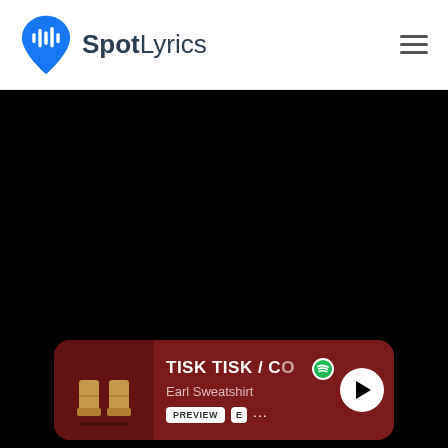[Figure (logo): SpotLyrics logo: blue map pin with audio waveform bars, followed by text SpotLyrics in dark color]
[Figure (screenshot): Black background area representing a web page content area with embedded Spotify music player card at the bottom showing TISK TISK / CO by Earl Sweatshirt with album art, PREVIEW button, E badge, dots, and play button]